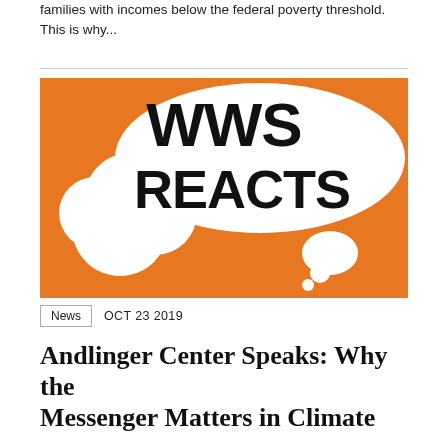families with incomes below the federal poverty threshold. This is why...
[Figure (illustration): WWS Reacts graphic with speech bubbles on orange background with bold black text reading 'WWS REACTS']
News   OCT 23 2019
Andlinger Center Speaks: Why the Messenger Matters in Climate